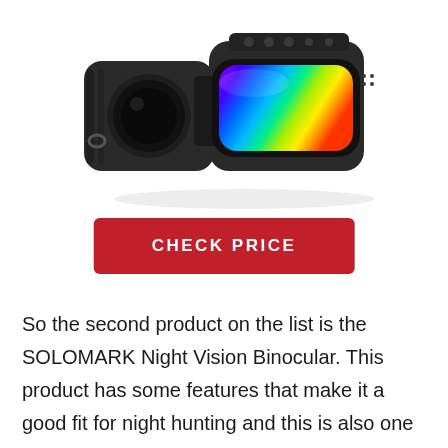[Figure (photo): A black SOLOMARK night vision binocular device with a large rainbow-colored reflective lens visible on the front, photographed at an angle against a white background.]
CHECK PRICE
So the second product on the list is the SOLOMARK Night Vision Binocular. This product has some features that make it a good fit for night hunting and this is also one of the best day and night vision